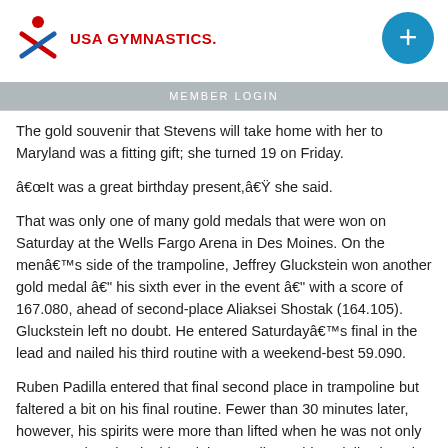USA GYMNASTICS | MEMBER LOGIN
The gold souvenir that Stevens will take home with her to Maryland was a fitting gift; she turned 19 on Friday.
“It was a great birthday present,” she said.
That was only one of many gold medals that were won on Saturday at the Wells Fargo Arena in Des Moines. On the men’s side of the trampoline, Jeffrey Gluckstein won another gold medal – his sixth ever in the event – with a score of 167.080, ahead of second-place Aliaksei Shostak (164.105). Gluckstein left no doubt. He entered Saturday’s final in the lead and nailed his third routine with a weekend-best 59.090.
Ruben Padilla entered that final second place in trampoline but faltered a bit on his final routine. Fewer than 30 minutes later, however, his spirits were more than lifted when he was not only announced as the double-mini trampoline gold medalist, but also as the discipline’s Athlete of the Year and